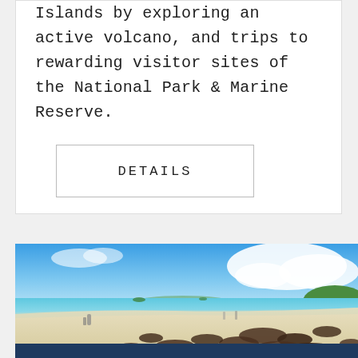Islands by exploring an active volcano, and trips to rewarding visitor sites of the National Park & Marine Reserve.
DETAILS
[Figure (photo): Beach scene with sea lions resting on white sand, turquoise water, blue sky with clouds, people in background]